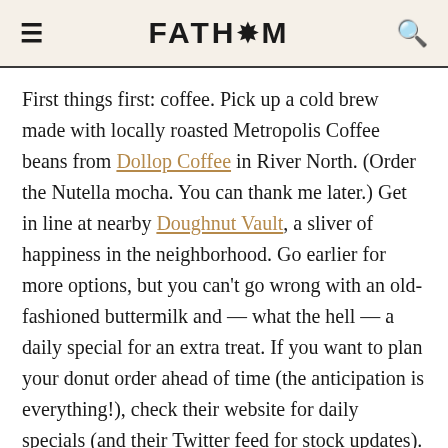FATH*M
First things first: coffee. Pick up a cold brew made with locally roasted Metropolis Coffee beans from Dollop Coffee in River North. (Order the Nutella mocha. You can thank me later.) Get in line at nearby Doughnut Vault, a sliver of happiness in the neighborhood. Go earlier for more options, but you can't go wrong with an old-fashioned buttermilk and — what the hell — a daily special for an extra treat. If you want to plan your donut order ahead of time (the anticipation is everything!), check their website for daily specials (and their Twitter feed for stock updates).